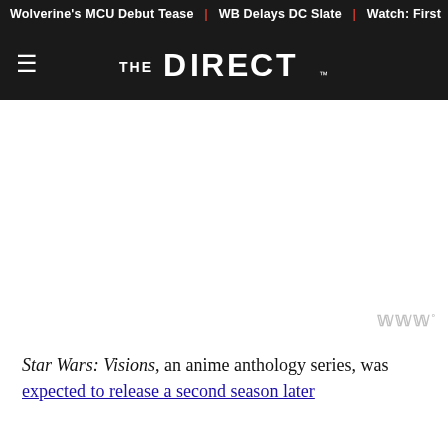Wolverine's MCU Debut Tease | WB Delays DC Slate | Watch: First
[Figure (logo): The Direct website logo — hamburger menu icon on left, THE DIRECT wordmark in white on dark background]
[Figure (other): Advertisement placeholder area with watermark symbol in bottom right]
Star Wars: Visions, an anime anthology series, was expected to release a second season later